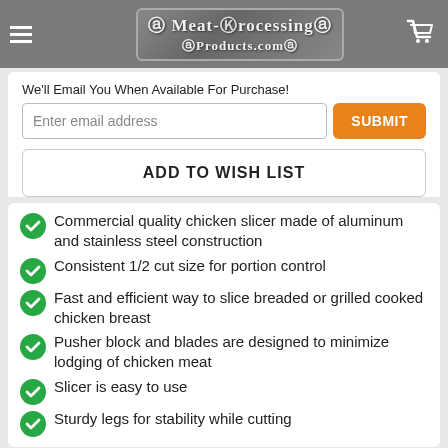Meat-Processing Products.com
We'll Email You When Available For Purchase!
Enter email address | SUBMIT
ADD TO WISH LIST
Commercial quality chicken slicer made of aluminum and stainless steel construction
Consistent 1/2 cut size for portion control
Fast and efficient way to slice breaded or grilled cooked chicken breast
Pusher block and blades are designed to minimize lodging of chicken meat
Slicer is easy to use
Sturdy legs for stability while cutting